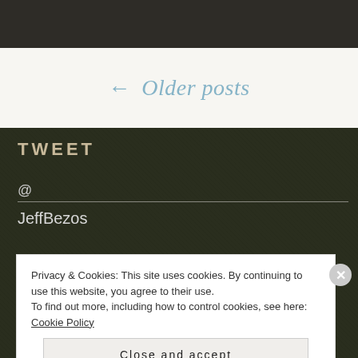← Older posts
TWEET
@
JeffBezos
Privacy & Cookies: This site uses cookies. By continuing to use this website, you agree to their use.
To find out more, including how to control cookies, see here: Cookie Policy
Close and accept